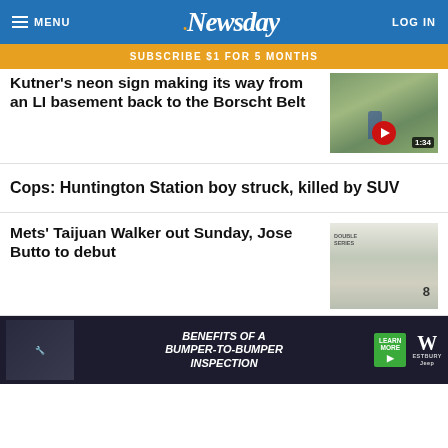MENU | Newsday | LOG IN
SUBSCRIBE $1 FOR 5 MONTHS
Kutner's neon sign making its way from an LI basement back to the Borscht Belt
Cops: Huntington Station boy struck, killed by SUV
Mets' Taijuan Walker out Sunday, Jose Butto to debut
[Figure (photo): Advertisement banner: Benefits of a bumper-to-bumper inspection, Westbury Jeep dealership ad]